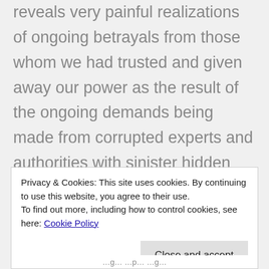reveals very painful realizations of ongoing betrayals from those whom we had trusted and given away our power as the result of the ongoing demands being made from corrupted experts and authorities with sinister hidden agendas. We must learn from our past decisions, and take what we learned from any disagreeable results in order to make more positive and loving choices in the future. Learning from our mistakes is the process of cultivating right thinking and right alignment, if our
Privacy & Cookies: This site uses cookies. By continuing to use this website, you agree to their use. To find out more, including how to control cookies, see here: Cookie Policy
Close and accept